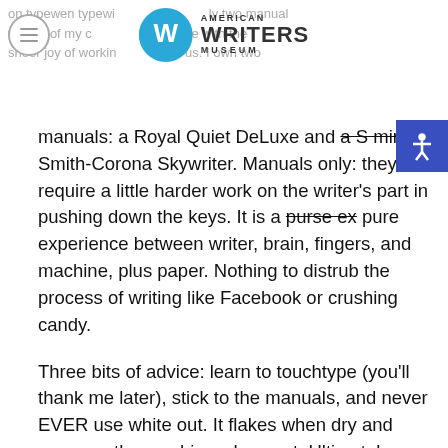American Writers Museum
manuals: a Royal Quiet DeLuxe and a S mim a Smith-Corona Skywriter. Manuals only: they require a little harder work on the writer's part in pushing down the keys. It is a purse ex pure experience between writer, brain, fingers, and machine, plus paper. Nothing to distrub the process of writing like Facebook or crushing candy.
Three bits of advice: learn to touchtype (you'll thank me later), stick to the manuals, and never EVER use white out. It flakes when dry and gums up the machine when wet. Ultimately, white out screws up the mechanical aspects of your typewriter. Make a mistake? Do what I do. Use lots of XXXXXXX over the mistake and get back to cases!
PS. You can scan your typewritten pages into an MS word doc for editing and revising. To revise: to reenter the